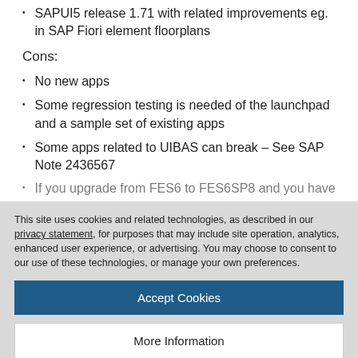SAPUI5 release 1.71 with related improvements eg. in SAP Fiori element floorplans
Cons:
No new apps
Some regression testing is needed of the launchpad and a sample set of existing apps
Some apps related to UIBAS can break – See SAP Note 2436567
This site uses cookies and related technologies, as described in our privacy statement, for purposes that may include site operation, analytics, enhanced user experience, or advertising. You may choose to consent to our use of these technologies, or manage your own preferences.
Accept Cookies
More Information
Privacy Policy | Powered by: TrustArc
more those depend on backend capability e.g. no new ...